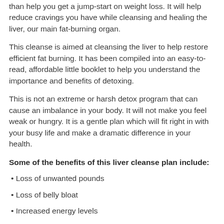than help you get a jump-start on weight loss. It will help reduce cravings you have while cleansing and healing the liver, our main fat-burning organ.
This cleanse is aimed at cleansing the liver to help restore efficient fat burning. It has been compiled into an easy-to-read, affordable little booklet to help you understand the importance and benefits of detoxing.
This is not an extreme or harsh detox program that can cause an imbalance in your body. It will not make you feel weak or hungry. It is a gentle plan which will fit right in with your busy life and make a dramatic difference in your health.
Some of the benefits of this liver cleanse plan include:
• Loss of unwanted pounds
• Loss of belly bloat
• Increased energy levels
• Mental clarity
• Reduction in sugar and salt cravings